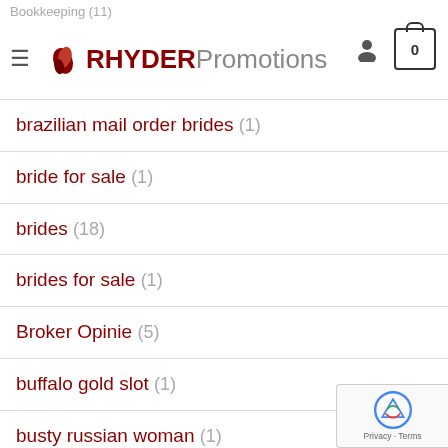Bookkeeping (11) — RHYDER Promotions
brazilian mail order brides (1)
bride for sale (1)
brides (18)
brides for sale (1)
Broker Opinie (5)
buffalo gold slot (1)
busty russian woman (1)
buy a wife (3)
buying a wife online (1)
canadian-casino (1)